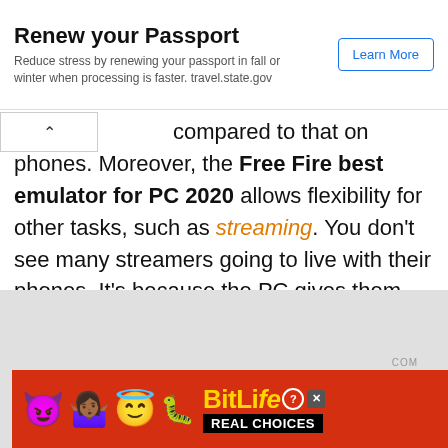[Figure (infographic): Top advertisement banner: 'Renew your Passport' with subtitle 'Reduce stress by renewing your passport in fall or winter when processing is faster. travel.state.gov' and a 'Learn More' button.]
compared to that on phones. Moreover, the Free Fire best emulator for PC 2020 allows flexibility for other tasks, such as streaming. You don't see many streamers going to live with their phones. It's because the PC gives them the choice to customize its system, thus, create more power.
[Figure (screenshot): Gray placeholder ad area with 'COM' label and a BitLife advertisement banner at the bottom showing emojis (devil, woman, angel, sperm) with the BitLife logo in yellow, a question mark circle, X close button, and 'REAL CHOICES' tagline on black background, on a red banner.]